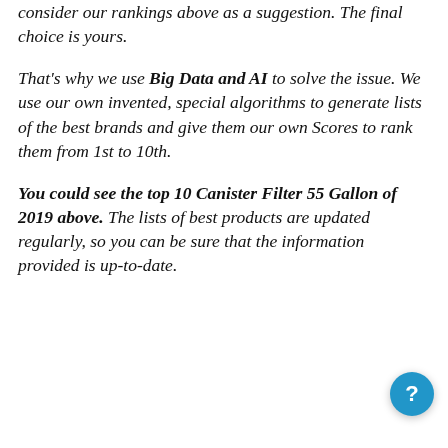consider our rankings above as a suggestion. The final choice is yours.
That's why we use Big Data and AI to solve the issue. We use our own invented, special algorithms to generate lists of the best brands and give them our own Scores to rank them from 1st to 10th.
You could see the top 10 Canister Filter 55 Gallon of 2019 above. The lists of best products are updated regularly, so you can be sure that the information provided is up-to-date.